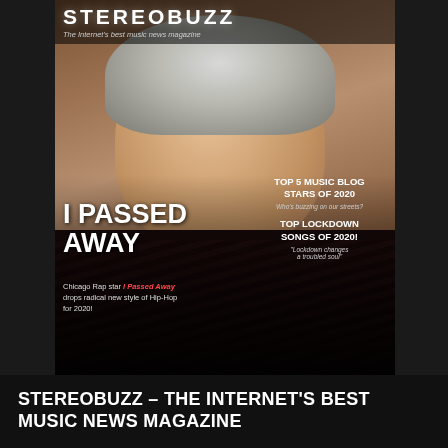[Figure (photo): Stereobuzz magazine cover featuring a young person with short curly bleached hair, smiling, wearing a dark knit sweater with chain necklace. Text overlays include 'I PASSED AWAY', 'TOP 5 MUSIC BLOG STARS OF 2020', 'TOP LOCKDOWN SONGS OF 2020!', and subheadings. The magazine logo 'STEREOBUZZ' appears at the top with tagline 'The Internet's best music news magazine'.]
STEREOBUZZ – THE INTERNET'S BEST MUSIC NEWS MAGAZINE
Home
Music News